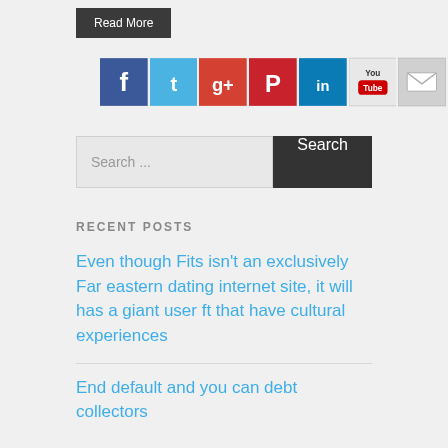[Figure (screenshot): Read More button - dark gray rectangular button with white text]
[Figure (infographic): Row of social media icons: Facebook, Twitter, Google+, Pinterest, LinkedIn, YouTube, Email/Mail]
Search ...
RECENT POSTS
Even though Fits isn't an exclusively Far eastern dating internet site, it will has a giant user ft that have cultural experiences
End default and you can debt collectors